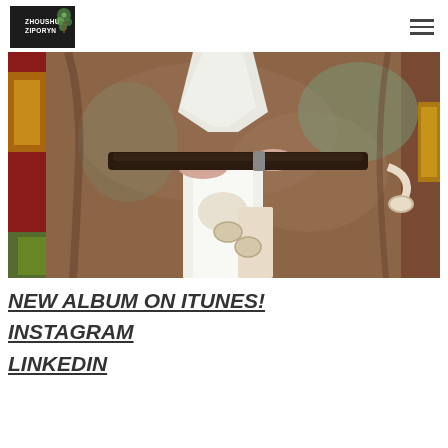Zhoushu Ziporyn
[Figure (photo): Person in traditional Asian ceremonial robes holding a dark wooden flute/instrument, with decorative white sash and knot ornaments, golden decorative objects visible in background]
NEW ALBUM ON ITUNES!
INSTAGRAM
LINKEDIN